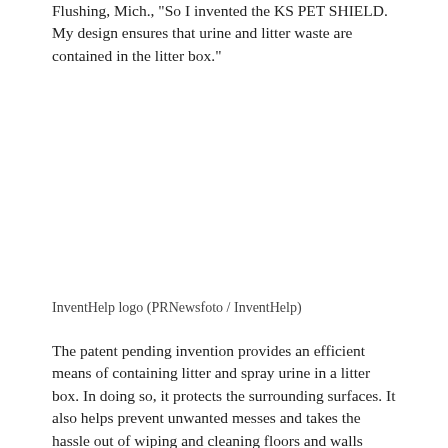Flushing, Mich., "So I invented the KS PET SHIELD. My design ensures that urine and litter waste are contained in the litter box."
InventHelp logo (PRNewsfoto / InventHelp)
The patent pending invention provides an efficient means of containing litter and spray urine in a litter box. In doing so, it protects the surrounding surfaces. It also helps prevent unwanted messes and takes the hassle out of wiping and cleaning floors and walls around a litter box. The invention features a practical design which is